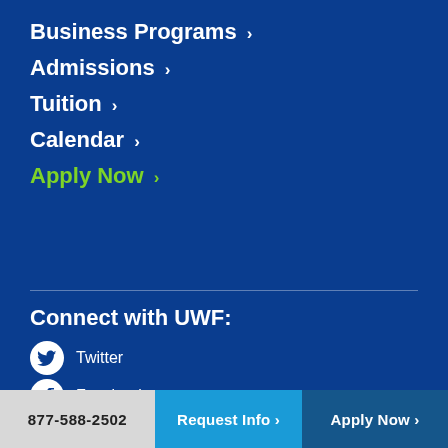Business Programs ❯
Admissions ❯
Tuition ❯
Calendar ❯
Apply Now ❯
Connect with UWF:
Twitter
Facebook
Instagram
Youtube
877-588-2502
Request Info ❯
Apply Now ❯